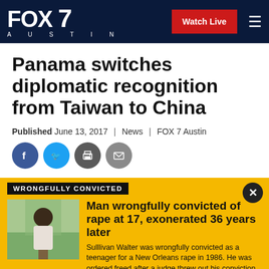FOX 7 AUSTIN | Watch Live
Panama switches diplomatic recognition from Taiwan to China
Published June 13, 2017 | News | FOX 7 Austin
[Figure (infographic): Social sharing icons: Facebook, Twitter, Print, Email]
[Figure (infographic): WRONGFULLY CONVICTED promo banner with photo of man and text: Man wrongfully convicted of rape at 17, exonerated 36 years later. Sulllivan Walter was wrongfully convicted as a teenager for a New Orleans rape in 1986. He was ordered freed after a judge threw out his conviction.]